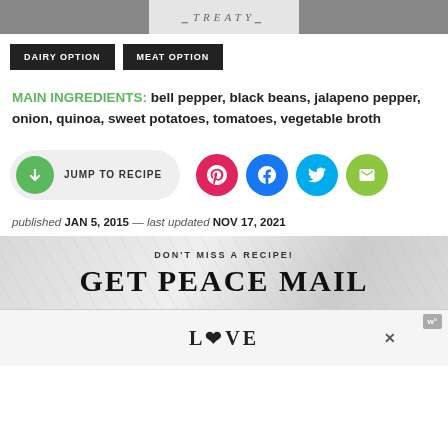[Figure (photo): Top image strip with three sections: left and right dark photo crops, center showing decorative text 'TREATY' in stylized font]
DAIRY OPTION   MEAT OPTION
MAIN INGREDIENTS: bell pepper, black beans, jalapeno pepper, onion, quinoa, sweet potatoes, tomatoes, vegetable broth
[Figure (infographic): Jump to Recipe button (green circle with down arrow, light gray pill background) and four social share icons: Pinterest (pink), Facebook (blue), Twitter (cyan), Email (lime green)]
published JAN 5, 2015 — last updated NOV 17, 2021
[Figure (infographic): Promotional banner with marble texture background. Text: DON'T MISS A RECIPE! GET PEACE MAIL. Advertisement overlay showing stylized LOVE text graphic.]